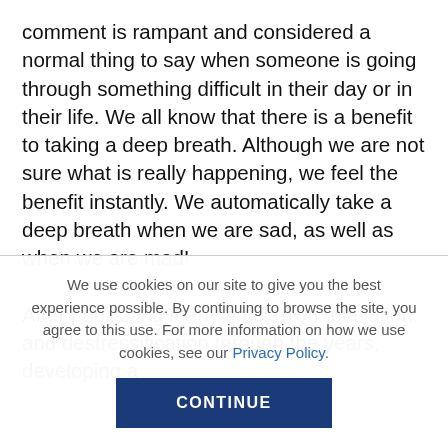comment is rampant and considered a normal thing to say when someone is going through something difficult in their day or in their life. We all know that there is a benefit to taking a deep breath. Although we are not sure what is really happening, we feel the benefit instantly. We automatically take a deep breath when we are sad, as well as when we are mad!

After publishing many articles on relaxation and destressification through the years, developing a
We use cookies on our site to give you the best experience possible. By continuing to browse the site, you agree to this use. For more information on how we use cookies, see our Privacy Policy.
CONTINUE